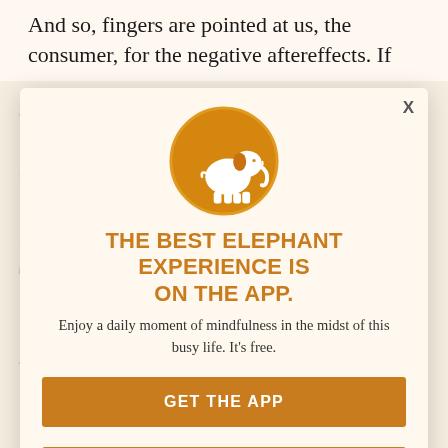And so, fingers are pointed at us, the consumer, for the negative aftereffects. If
[Figure (illustration): Elephant Journal app promotion modal overlay with orange elephant logo circle, headline, description, and two call-to-action buttons on a faded article background]
THE BEST ELEPHANT EXPERIENCE IS ON THE APP.
Enjoy a daily moment of mindfulness in the midst of this busy life. It's free.
GET THE APP
OPEN IN APP